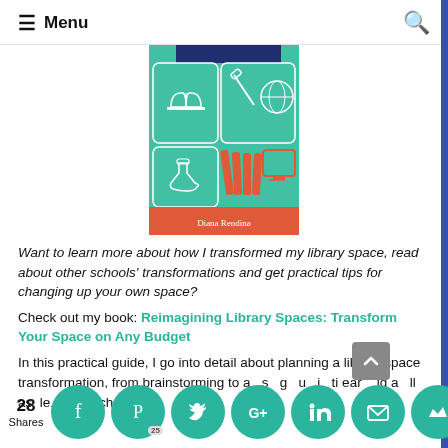Menu
[Figure (illustration): Book cover for 'Reimagining Library Spaces: Transform Your Space on Any Budget' by Diana Rendina. Teal/green background with icons: open book, tools, globe, beaker, stack of books, computer monitor. Red/orange banner at bottom with author name in white text.]
Want to learn more about how I transformed my library space, read about other schools' transformations and get practical tips for changing up your own space?
Check out my book: Reimagining Library Spaces: Transform Your Space on Any Budget
In this practical guide, I go into detail about planning a library space transformation, from brainstorming to a s g u i ti ear ig a ll as le, t-n y ch s